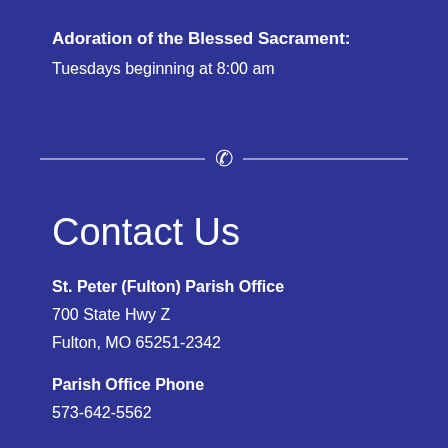Adoration of the Blessed Sacrament:
Tuesdays beginning at 8:00 am
[Figure (other): Decorative horizontal divider with a phone/handset icon in the center]
Contact Us
St. Peter (Fulton) Parish Office
700 State Hwy Z
Fulton, MO 65251-2342
Parish Office Phone
573-642-5562
Email